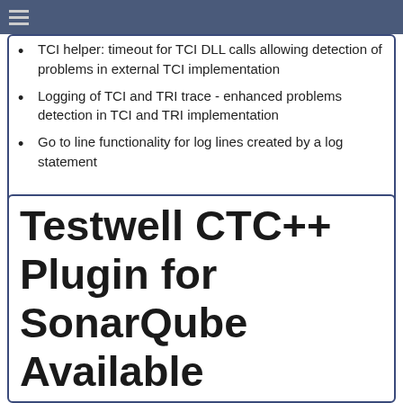TCI helper: timeout for TCI DLL calls allowing detection of problems in external TCI implementation
Logging of TCI and TRI trace - enhanced problems detection in TCI and TRI implementation
Go to line functionality for log lines created by a log statement
Testwell CTC++ Plugin for SonarQube Available
(Offenburg/Germany, 16 January 2015)
Verifysoft announces the availability of a Testwell CTC++ Plugin for SonarQube™.